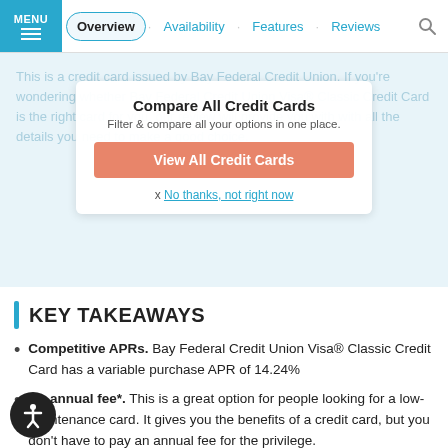MENU | Overview | Availability | Features | Reviews
Compare All Credit Cards
Filter & compare all your options in one place.
View All Credit Cards
x No thanks, not right now
This is a credit card issued by Bay Federal Credit Union. If you're wondering whether Bay Federal Credit Union Visa® Classic Credit Card is the right card for you, our review will provide you with with all the details you need to make a good choice.
KEY TAKEAWAYS
Competitive APRs. Bay Federal Credit Union Visa® Classic Credit Card has a variable purchase APR of 14.24%
No annual fee*. This is a great option for people looking for a low-maintenance card. It gives you the benefits of a credit card, but you don't have to pay an annual fee for the privilege.
No foreign transaction fee. This card does not charge a fee when you make a purchase that passes through a foreign